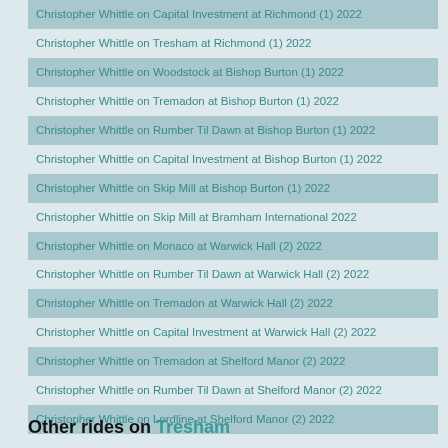Christopher Whittle on Capital Investment at Richmond (1) 2022
Christopher Whittle on Tresham at Richmond (1) 2022
Christopher Whittle on Woodstock at Bishop Burton (1) 2022
Christopher Whittle on Tremadon at Bishop Burton (1) 2022
Christopher Whittle on Rumber Til Dawn at Bishop Burton (1) 2022
Christopher Whittle on Capital Investment at Bishop Burton (1) 2022
Christopher Whittle on Skip Mill at Bishop Burton (1) 2022
Christopher Whittle on Skip Mill at Bramham International 2022
Christopher Whittle on Monaco at Warwick Hall (2) 2022
Christopher Whittle on Rumber Til Dawn at Warwick Hall (2) 2022
Christopher Whittle on Tremadon at Warwick Hall (2) 2022
Christopher Whittle on Capital Investment at Warwick Hall (2) 2022
Christopher Whittle on Tremadon at Shelford Manor (2) 2022
Christopher Whittle on Rumber Til Dawn at Shelford Manor (2) 2022
Christopher Whittle on Lordline at Shelford Manor (2) 2022
Other rides on Tresham